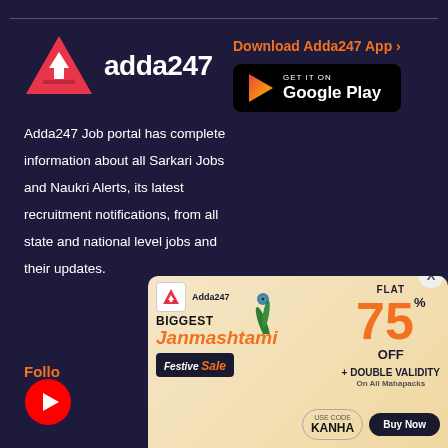[Figure (logo): Adda247 logo — red triangle shape with an upward arrow inside, followed by text 'adda247' in white bold font]
Download Adda247 App
[Figure (screenshot): Google Play Store badge — black rounded rectangle with Play button icon and text GET IT ON Google Play]
Adda247 Job portal has complete information about all Sarkari Jobs and Naukri Alerts, its latest recruitment notifications, from all state and national level jobs and their updates.
Follow
[Figure (logo): YouTube red circle icon]
[Figure (infographic): Adda247 Janmashtami Festive Sale advertisement banner: BIGGEST Janmashtami Festive Sale, FLAT 75% OFF + DOUBLE VALIDITY On All Mahapacks, USE CODE KANHA, Buy Now button. Close X button in top right.]